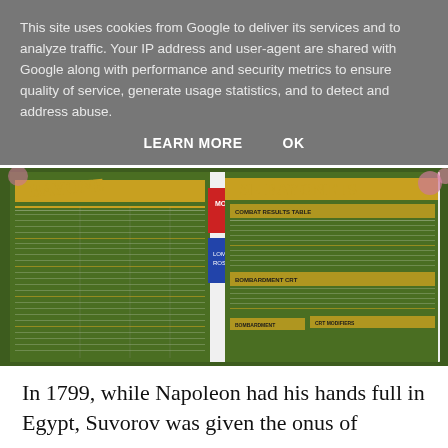This site uses cookies from Google to deliver its services and to analyze traffic. Your IP address and user-agent are shared with Google along with performance and security metrics to ensure quality of service, generate usage statistics, and to detect and address abuse.
LEARN MORE   OK
[Figure (photo): Photo of green board game reference sheets titled 'Bayonets' spread out on a table, showing tables and charts with game data]
In 1799, while Napoleon had his hands full in Egypt, Suvorov was given the onus of